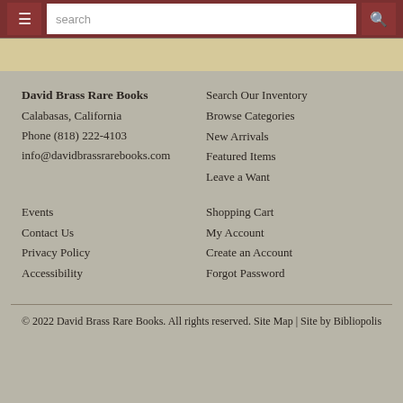≡ [menu button] | search [search bar] 🔍 [search button]
David Brass Rare Books
Calabasas, California
Phone (818) 222-4103
info@davidbrassrarebooks.com
Search Our Inventory
Browse Categories
New Arrivals
Featured Items
Leave a Want
Events
Contact Us
Privacy Policy
Accessibility
Shopping Cart
My Account
Create an Account
Forgot Password
© 2022 David Brass Rare Books. All rights reserved. Site Map | Site by Bibliopolis